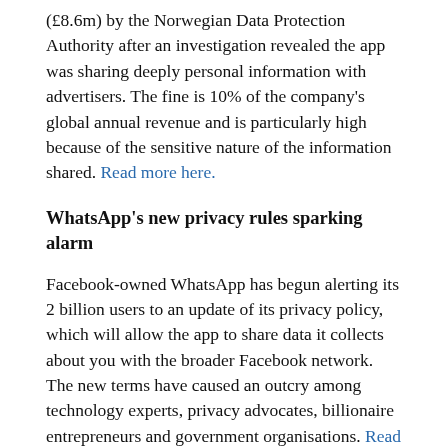(£8.6m) by the Norwegian Data Protection Authority after an investigation revealed the app was sharing deeply personal information with advertisers. The fine is 10% of the company's global annual revenue and is particularly high because of the sensitive nature of the information shared. Read more here.
WhatsApp's new privacy rules sparking alarm
Facebook-owned WhatsApp has begun alerting its 2 billion users to an update of its privacy policy, which will allow the app to share data it collects about you with the broader Facebook network. The new terms have caused an outcry among technology experts, privacy advocates, billionaire entrepreneurs and government organisations. Read more here.